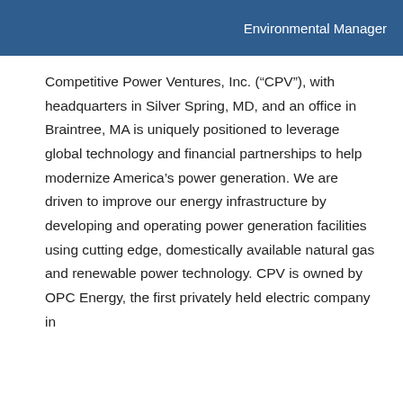Environmental Manager
Competitive Power Ventures, Inc. (“CPV”), with headquarters in Silver Spring, MD, and an office in Braintree, MA is uniquely positioned to leverage global technology and financial partnerships to help modernize America’s power generation. We are driven to improve our energy infrastructure by developing and operating power generation facilities using cutting edge, domestically available natural gas and renewable power technology. CPV is owned by OPC Energy, the first privately held electric company in